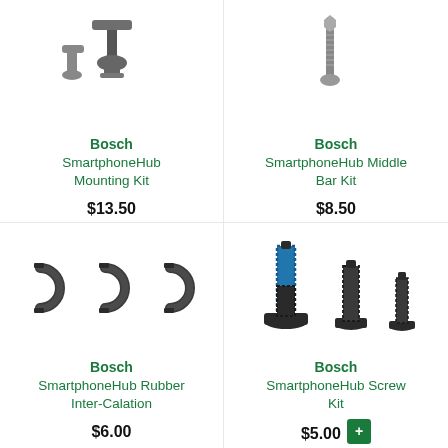[Figure (photo): Bosch SmartphoneHub Mounting Kit hardware photo — partial view showing metal mounting hardware pieces]
Bosch
SmartphoneHub Mounting Kit
$13.50
[Figure (photo): Bosch SmartphoneHub Middle Bar Kit — metal bar/bolt hardware photo]
Bosch
SmartphoneHub Middle Bar Kit
$8.50
[Figure (photo): Bosch SmartphoneHub Rubber Inter-Calation — three dark rubber ring/clip pieces]
Bosch
SmartphoneHub Rubber Inter-Calation
$6.00
[Figure (photo): Bosch SmartphoneHub Screw Kit — three black screws of varying sizes, one with blue thread-lock]
Bosch
SmartphoneHub Screw Kit
$5.00